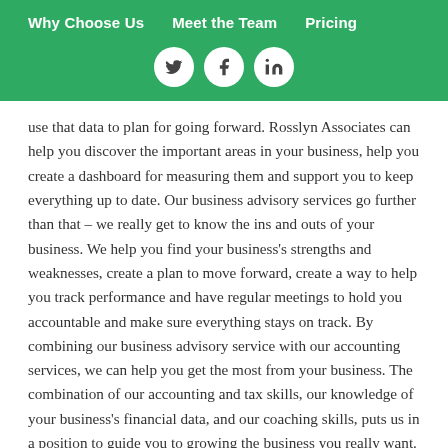Why Choose Us   Meet the Team   Pricing
[Figure (other): Social media icons: Twitter, Facebook, LinkedIn in white circles on green background]
use that data to plan for going forward. Rosslyn Associates can help you discover the important areas in your business, help you create a dashboard for measuring them and support you to keep everything up to date. Our business advisory services go further than that – we really get to know the ins and outs of your business. We help you find your business's strengths and weaknesses, create a plan to move forward, create a way to help you track performance and have regular meetings to hold you accountable and make sure everything stays on track. By combining our business advisory service with our accounting services, we can help you get the most from your business. The combination of our accounting and tax skills, our knowledge of your business's financial data, and our coaching skills, puts us in a position to guide you to growing the business you really want. If you'd like to discuss how we could work together, get in touch the office on 0131 445 1825 or email info@rosslynassociates.c... and one of the team will be happy to chat!